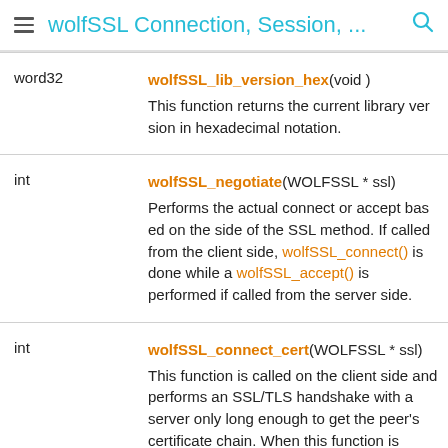wolfSSL Connection, Session, ...
| Type | Function |
| --- | --- |
| word32 | wolfSSL_lib_version_hex(void)
This function returns the current library version in hexadecimal notation. |
| int | wolfSSL_negotiate(WOLFSSL * ssl)
Performs the actual connect or accept based on the side of the SSL method. If called from the client side, wolfSSL_connect() is done while a wolfSSL_accept() is performed if called from the server side. |
| int | wolfSSL_connect_cert(WOLFSSL * ssl)
This function is called on the client side and performs an SSL/TLS handshake with a server only long enough to get the peer's certificate chain. When this function is called, the underlying communication channel has already been set up. wolfSSL_connect_cert() supports both blocking and non_blocking I/O. When the underlying I/O is non_blocking, wolfSSL_connect_cert()... |